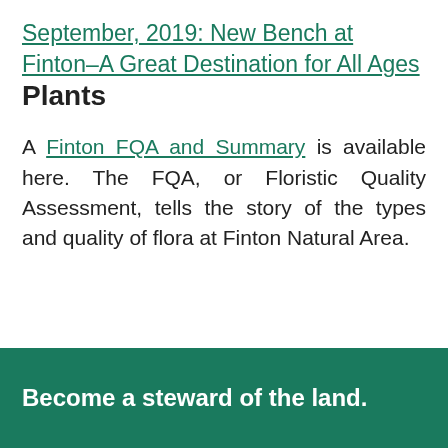September, 2019: New Bench at Finton–A Great Destination for All Ages
Plants
A Finton FQA and Summary is available here. The FQA, or Floristic Quality Assessment, tells the story of the types and quality of flora at Finton Natural Area.
Become a steward of the land.